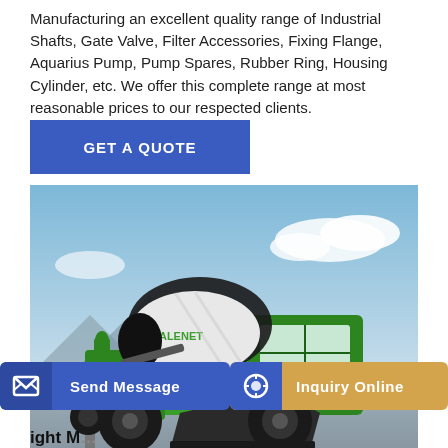Manufacturing an excellent quality range of Industrial Shafts, Gate Valve, Filter Accessories, Fixing Flange, Aquarius Pump, Pump Spares, Rubber Ring, Housing Cylinder, etc. We offer this complete range at most reasonable prices to our respected clients.
GET A QUOTE
[Figure (photo): Green self-loading concrete mixer truck (TALENET brand) with a large rotating drum, front loader bucket, and enclosed cab, photographed against a blue sky and mountain background.]
Send Message
Inquiry Online
ight M